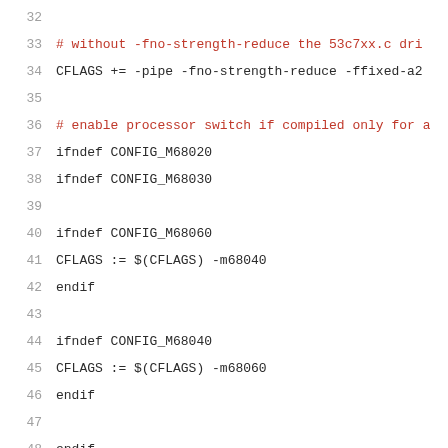32
33 # without -fno-strength-reduce the 53c7xx.c dri
34 CFLAGS += -pipe -fno-strength-reduce -ffixed-a2
35
36 # enable processor switch if compiled only for a
37 ifndef CONFIG_M68020
38 ifndef CONFIG_M68030
39
40 ifndef CONFIG_M68060
41 CFLAGS := $(CFLAGS) -m68040
42 endif
43
44 ifndef CONFIG_M68040
45 CFLAGS := $(CFLAGS) -m68060
46 endif
47
48 endif
49 endif
50
51 ifdef CONFIG_KGDB
52 # If configured for kgdb support, include debug